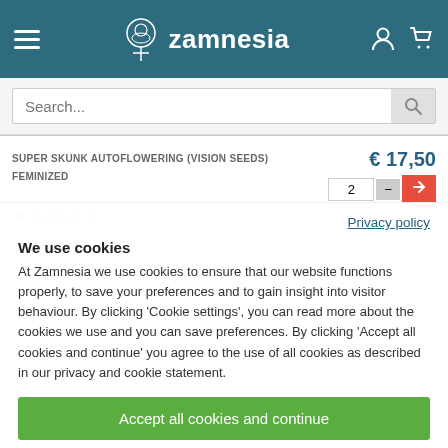Zamnesia
Search...
SUPER SKUNK AUTOFLOWERING (VISION SEEDS) FEMINIZED € 17,50
Privacy policy
We use cookies
At Zamnesia we use cookies to ensure that our website functions properly, to save your preferences and to gain insight into visitor behaviour. By clicking 'Cookie settings', you can read more about the cookies we use and you can save preferences. By clicking 'Accept all cookies and continue' you agree to the use of all cookies as described in our privacy and cookie statement.
Accept all cookies and continue
Cookie settings